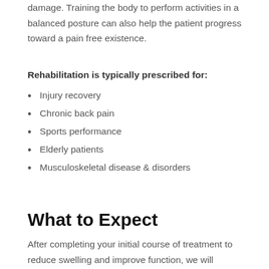damage. Training the body to perform activities in a balanced posture can also help the patient progress toward a pain free existence.
Rehabilitation is typically prescribed for:
Injury recovery
Chronic back pain
Sports performance
Elderly patients
Musculoskeletal disease & disorders
What to Expect
After completing your initial course of treatment to reduce swelling and improve function, we will measure your current performance in a series of tests designed to pinpoint areas of pain and weakness. Our staff will then design a series of comprehensive exercises which may consist of movements, stretches, resistance training or